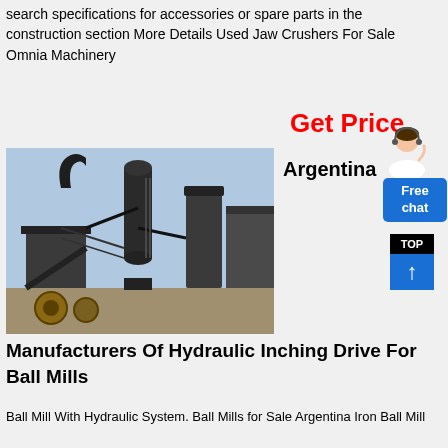search specifications for accessories or spare parts in the construction section More Details Used Jaw Crushers For Sale Omnia Machinery
Get Price
Argentina
[Figure (photo): Industrial ball mill or grinding plant facility with large cylindrical structures and machinery against a blue sky backdrop]
Manufacturers Of Hydraulic Inching Drive For Ball Mills
Ball Mill With Hydraulic System. Ball Mills for Sale Argentina Iron Ball Mill